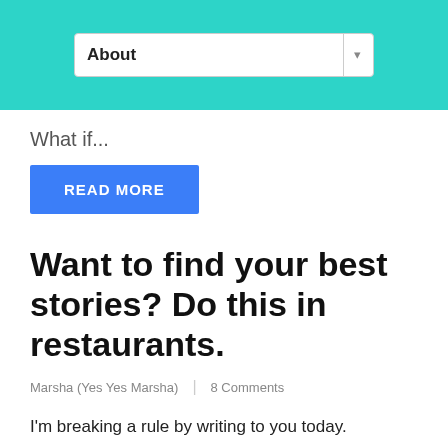About
What if...
READ MORE
Want to find your best stories? Do this in restaurants.
Marsha (Yes Yes Marsha) | 8 Comments
I'm breaking a rule by writing to you today.
This week – last Friday until today – I was supposed to be in New York. On the final trip of a spate that has lasted almost three months, I was due to be in New York with